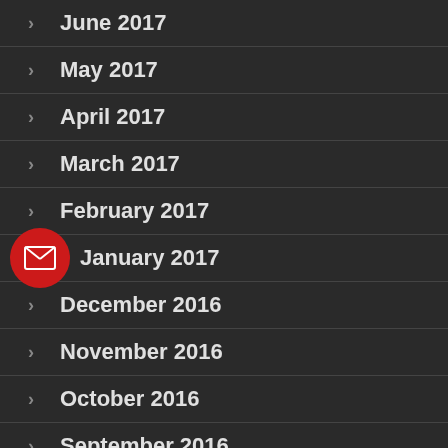June 2017
May 2017
April 2017
March 2017
February 2017
January 2017
December 2016
November 2016
October 2016
September 2016
August 2016
[Figure (illustration): Red circular email/envelope icon badge overlaid on January 2017 list item]